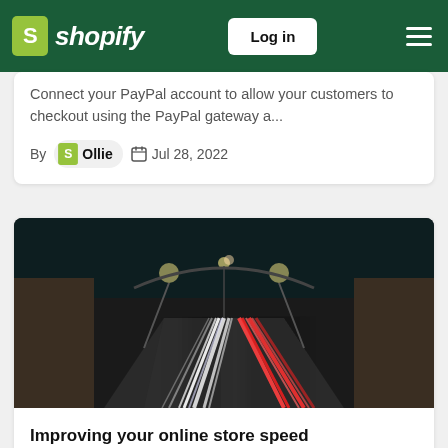Shopify — Log in
Connect your PayPal account to allow your customers to checkout using the PayPal gateway a...
By Ollie  Jul 28, 2022
[Figure (photo): Night highway with long-exposure light trails from vehicle headlights and taillights, shot from above looking down a perspective view]
Improving your online store speed
Your online store speed can enhance your store's